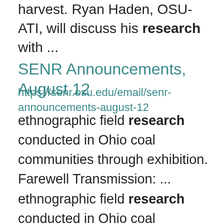harvest. Ryan Haden, OSU-ATI, will discuss his research with ...
SENR Announcements, August 12
https://senr.osu.edu/email/senr-announcements-august-12
ethnographic field research conducted in Ohio coal communities through exhibition. Farewell Transmission: ... ethnographic field research conducted in Ohio coal communities can be transformed and animated through ... Resources William W. Sharp Research Photographer, School of Environment and Natural Resources Funding for ...